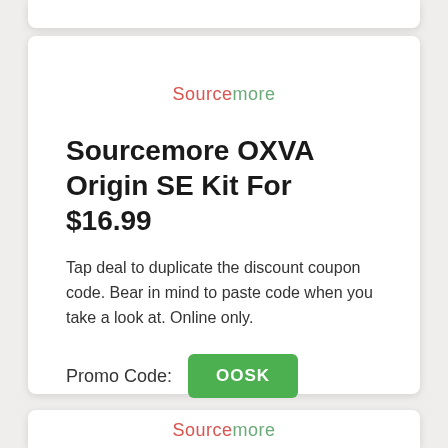[Figure (logo): Sourcemore logo with 'Source' in red/salmon and 'more' in green, centered in the main card]
Sourcemore OXVA Origin SE Kit For $16.99
Tap deal to duplicate the discount coupon code. Bear in mind to paste code when you take a look at. Online only.
Promo Code: OOSK
[Figure (logo): Sourcemore logo with 'Source' in red/salmon and 'more' in green, centered in the bottom partial card]